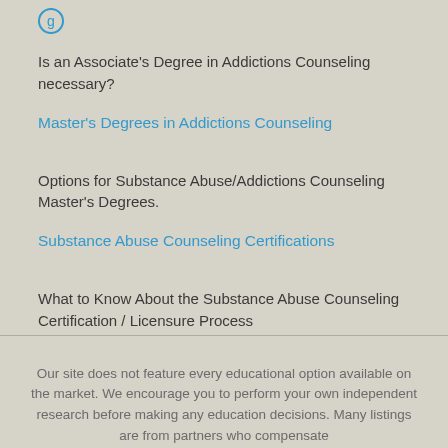Is an Associate's Degree in Addictions Counseling necessary?
Master's Degrees in Addictions Counseling
Options for Substance Abuse/Addictions Counseling Master's Degrees.
Substance Abuse Counseling Certifications
What to Know About the Substance Abuse Counseling Certification / Licensure Process
Our site does not feature every educational option available on the market. We encourage you to perform your own independent research before making any education decisions. Many listings are from partners who compensate